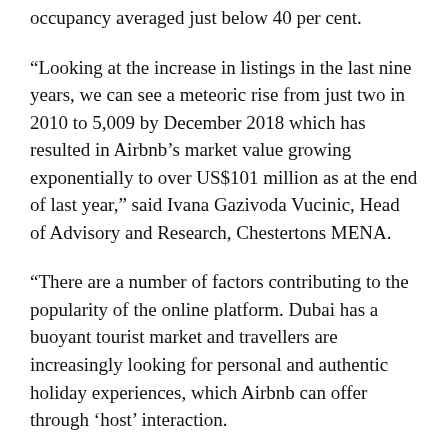occupancy averaged just below 40 per cent.
“Looking at the increase in listings in the last nine years, we can see a meteoric rise from just two in 2010 to 5,009 by December 2018 which has resulted in Airbnb’s market value growing exponentially to over US$101 million as at the end of last year,” said Ivana Gazivoda Vucinic, Head of Advisory and Research, Chestertons MENA.
“There are a number of factors contributing to the popularity of the online platform. Dubai has a buoyant tourist market and travellers are increasingly looking for personal and authentic holiday experiences, which Airbnb can offer through ‘host’ interaction.
“The other factor is a growing number of individuals, who are either coming to the emirate for contract work